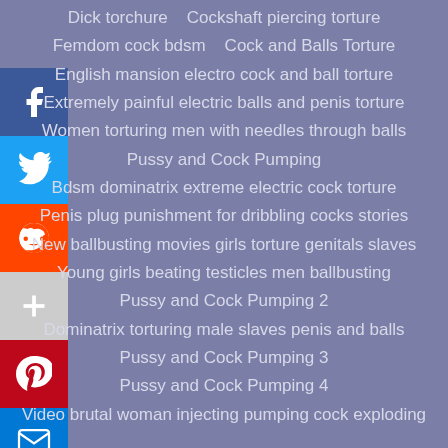Dick torchure   Cockshaft piercing torture
Femdom cock bdsm   Cock and Balls Torture
English mansion electro cock and ball torture
Extremely painful electric balls and penis torture
Women torturing men with needles through balls
Pussy and Cock Pumping
Bdsm dominatrix extreme electric cock torture
Penis plug punishment for dribbling cocks stories
New ballbusting movies girls torture genitals slaves
Young girls beating testicles men ballbusting
Pussy and Cock Pumping 2
Dominatrix torturing male slaves penis and balls
Pussy and Cock Pumping 3
Pussy and Cock Pumping 4
Video brutal woman injecting pumping cock exploding